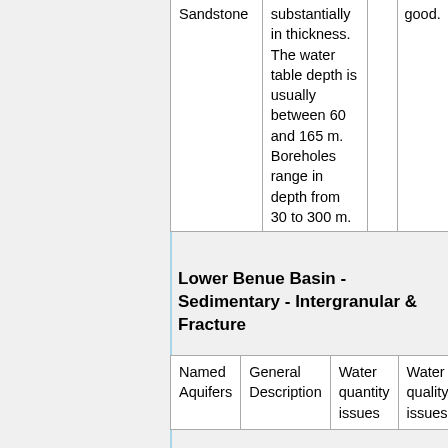| Named Aquifers | General Description | Water quantity issues | Water quality issues |
| --- | --- | --- | --- |
| Sandstone | substantially in thickness. The water table depth is usually between 60 and 165 m. Boreholes range in depth from 30 to 300 m. |  | good. |
Lower Benue Basin - Sedimentary - Intergranular & Fracture
| Named Aquifers | General Description | Water quantity issues | Water quality issues |
| --- | --- | --- | --- |